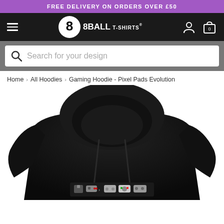FREE DELIVERY ON ORDERS OVER £50
[Figure (logo): 8Ball T-Shirts logo with hamburger menu, user icon, and shopping bag (0 items)]
[Figure (screenshot): Search bar with placeholder: Search for your design]
Home > All Hoodies > Gaming Hoodie - Pixel Pads Evolution
[Figure (photo): Black hoodie product photo showing Gaming Hoodie - Pixel Pads Evolution with retro game controller designs on the front chest area]